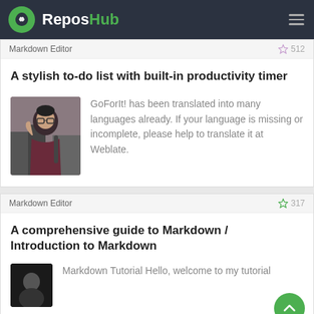ReposHub
Markdown Editor  ☆ 512
A stylish to-do list with built-in productivity timer
GoForIt! has been translated into many languages already. If your language is missing or incomplete, please help to translate it at Weblate.
Markdown Editor  ☆ 317
A comprehensive guide to Markdown / Introduction to Markdown
Markdown Tutorial Hello, welcome to my tutorial